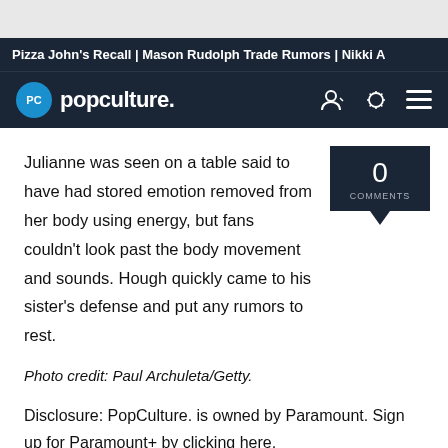Pizza John's Recall | Mason Rudolph Trade Rumors | Nikki A
[Figure (logo): PopCulture.com logo with PC circle icon and navigation icons]
Julianne was seen on a table said to have had stored emotion removed from her body using energy, but fans couldn't look past the body movement and sounds. Hough quickly came to his sister's defense and put any rumors to rest.
Photo credit: Paul Archuleta/Getty.
Disclosure: PopCulture. is owned by Paramount. Sign up for Paramount+ by clicking here.